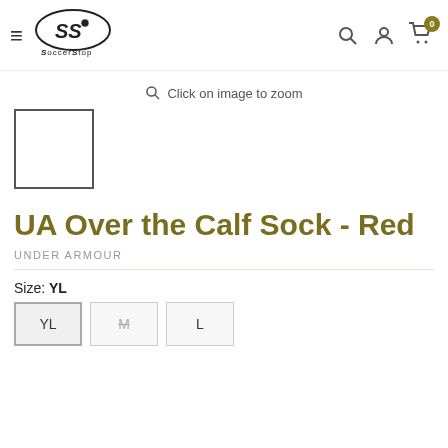Soccer Stop - Navigation header with logo, search, account, and cart icons
Click on image to zoom
[Figure (other): Small blank product thumbnail image box with border]
UA Over the Calf Sock - Red
UNDER ARMOUR
Size: YL
Size buttons: YL (selected), M (strikethrough), L